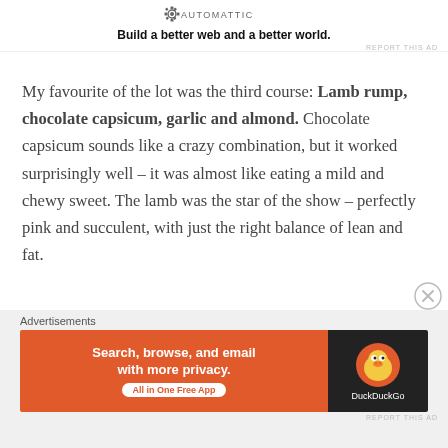[Figure (logo): Automattic logo with gear icon and text 'AUTOMATTIC']
Build a better web and a better world.
REPORT THIS AD
My favourite of the lot was the third course: Lamb rump, chocolate capsicum, garlic and almond. Chocolate capsicum sounds like a crazy combination, but it worked surprisingly well – it was almost like eating a mild and chewy sweet. The lamb was the star of the show – perfectly pink and succulent, with just the right balance of lean and fat.
Advertisements
[Figure (screenshot): DuckDuckGo advertisement banner: 'Search, browse, and email with more privacy. All in One Free App' on orange background with DuckDuckGo duck logo on dark background]
REPORT THIS AD